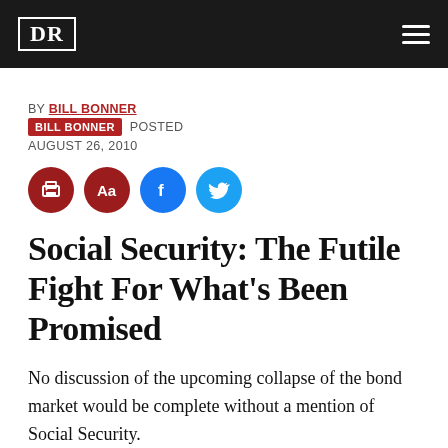DR
BY BILL BONNER
BILL BONNER POSTED AUGUST 26, 2010
[Figure (other): Social sharing and utility icons: print, font size (Aa), Facebook, Twitter]
Social Security: The Futile Fight For What’s Been Promised
No discussion of the upcoming collapse of the bond market would be complete without a mention of Social Security.